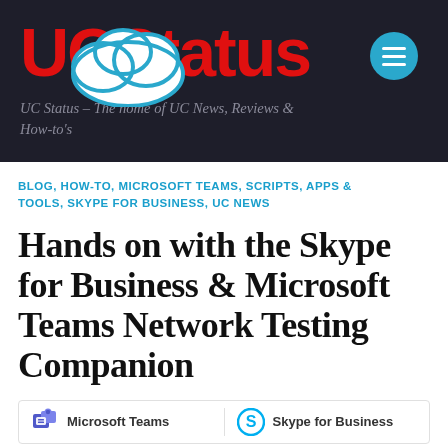UCStatus
UC Status – The home of UC News, Reviews & How-to's
BLOG, HOW-TO, MICROSOFT TEAMS, SCRIPTS, APPS & TOOLS, SKYPE FOR BUSINESS, UC NEWS
Hands on with the Skype for Business & Microsoft Teams Network Testing Companion
[Figure (logo): Microsoft Teams and Skype for Business logos side by side in a bordered box]